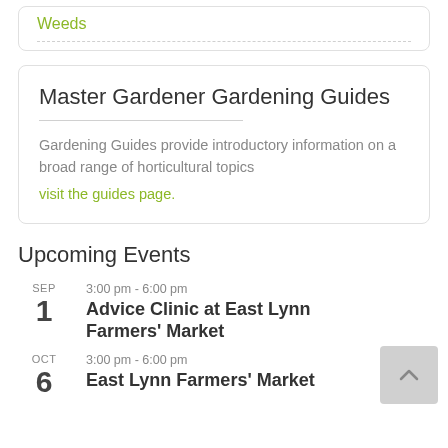Weeds
Master Gardener Gardening Guides
Gardening Guides provide introductory information on a broad range of horticultural topics
visit the guides page.
Upcoming Events
SEP 1 — 3:00 pm - 6:00 pm — Advice Clinic at East Lynn Farmers' Market
OCT 6 — 3:00 pm - 6:00 pm — East Lynn Farmers' Market